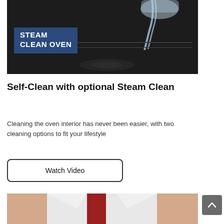[Figure (photo): Photo of water being poured into a dark oven interior, with a label overlay reading STEAM CLEAN OVEN on a navy blue background]
Self-Clean with optional Steam Clean
Cleaning the oven interior has never been easier, with two cleaning options to fit your lifestyle
Watch Video
[Figure (photo): Partial photo of a person wearing a white shirt and red apron/tie, cropped at chest level]